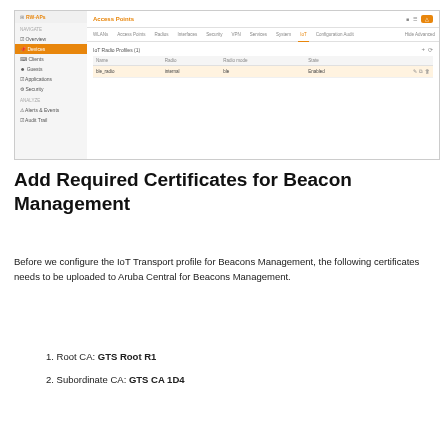[Figure (screenshot): Aruba Central IoT Radio Profiles UI screenshot showing a sidebar navigation with items including Overview, Devices, Clients, Guests, Applications, Security, Alerts & Events, Audit Trail. Main area shows Access Points configuration with IoT tab active, displaying a table of IoT Radio Profiles with one entry 'ble_radio' set to internal mode, ble type, Enabled status.]
Add Required Certificates for Beacon Management
Before we configure the IoT Transport profile for Beacons Management, the following certificates needs to be uploaded to Aruba Central for Beacons Management.
Root CA: GTS Root R1
Subordinate CA: GTS CA 1D4